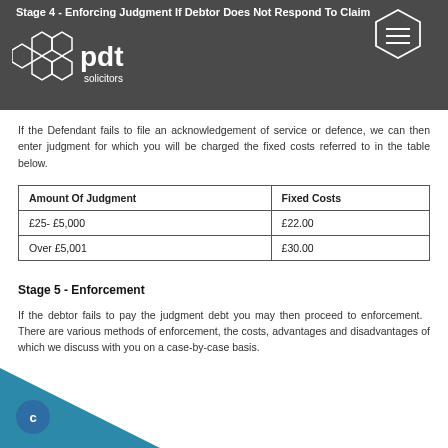Stage 4 - Enforcing Judgment If Debtor Does Not Respond To Claim
[Figure (logo): PDT Solicitors logo with hexagonal honeycomb motif on left and hamburger menu icon on right]
If the Defendant fails to file an acknowledgement of service or defence, we can then enter judgment for which you will be charged the fixed costs referred to in the table below.
| Amount Of Judgment | Fixed Costs |
| --- | --- |
| £25- £5,000 | £22.00 |
| Over £5,001 | £30.00 |
Stage 5 - Enforcement
If the debtor fails to pay the judgment debt you may then proceed to enforcement.  There are various methods of enforcement, the costs, advantages and disadvantages of which we discuss with you on a case-by-case basis.